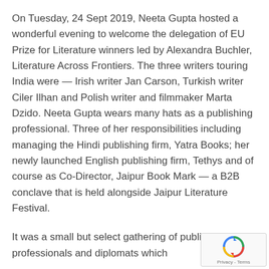On Tuesday, 24 Sept 2019, Neeta Gupta hosted a wonderful evening to welcome the delegation of EU Prize for Literature winners led by Alexandra Buchler, Literature Across Frontiers. The three writers touring India were — Irish writer Jan Carson, Turkish writer Ciler Ilhan and Polish writer and filmmaker Marta Dzido. Neeta Gupta wears many hats as a publishing professional. Three of her responsibilities including managing the Hindi publishing firm, Yatra Books; her newly launched English publishing firm, Tethys and of course as Co-Director, Jaipur Book Mark — a B2B conclave that is held alongside Jaipur Literature Festival.
It was a small but select gathering of publishing professionals and diplomats which
[Figure (logo): reCAPTCHA badge with circular arrow logo and Privacy - Terms text]